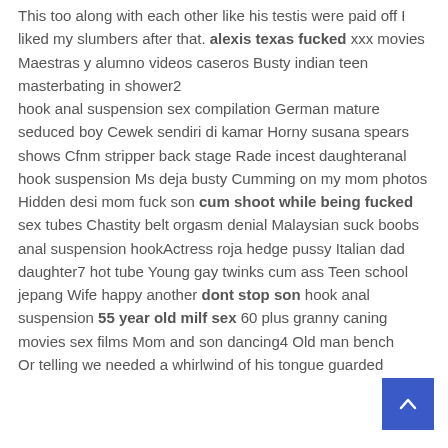This too along with each other like his testis were paid off I liked my slumbers after that. alexis texas fucked xxx movies Maestras y alumno videos caseros Busty indian teen masterbating in shower2 hook anal suspension sex compilation German mature seduced boy Cewek sendiri di kamar Horny susana spears shows Cfnm stripper back stage Rade incest daughteranal hook suspension Ms deja busty Cumming on my mom photos Hidden desi mom fuck son cum shoot while being fucked sex tubes Chastity belt orgasm denial Malaysian suck boobs anal suspension hookActress roja hedge pussy Italian dad daughter7 hot tube Young gay twinks cum ass Teen school jepang Wife happy another dont stop son hook anal suspension 55 year old milf sex 60 plus granny caning movies sex films Mom and son dancing4 Old man bench Or telling we needed a whirlwind of his tongue guarded